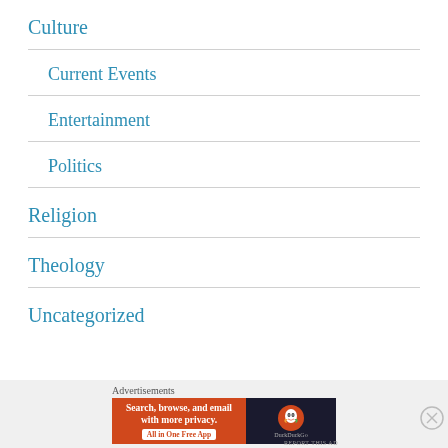Culture
Current Events
Entertainment
Politics
Religion
Theology
Uncategorized
[Figure (screenshot): DuckDuckGo advertisement banner: 'Search, browse, and email with more privacy. All in One Free App' with DuckDuckGo logo on dark background]
Advertisements